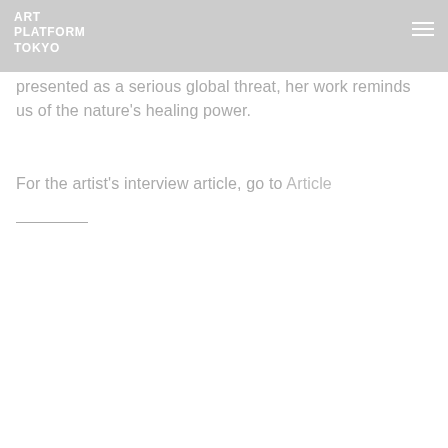ART PLATFORM TOKYO
presented as a serious global threat, her work reminds us of the nature's healing power.
For the artist's interview article, go to Article